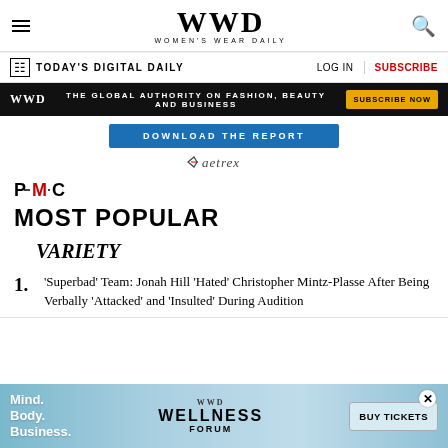WWD — Women's Wear Daily
TODAY'S DIGITAL DAILY | LOG IN | SUBSCRIBE
[Figure (screenshot): WWD ad banner: 'THE GLOBAL AUTHORITY ON FASHION, BEAUTY AND BUSINESS' with SUBSCRIBE NOW button]
[Figure (logo): Download the Report button above Aetrex logo]
[Figure (logo): PMC logo]
MOST POPULAR
[Figure (logo): VARIETY logo]
'Superbad' Team: Jonah Hill 'Hated' Christopher Mintz-Plasse After Being Verbally 'Attacked' and 'Insulted' During Audition
[Figure (screenshot): Bottom ad: WWD Mind. Body. Business. WELLNESS FORUM — BUY TICKETS]